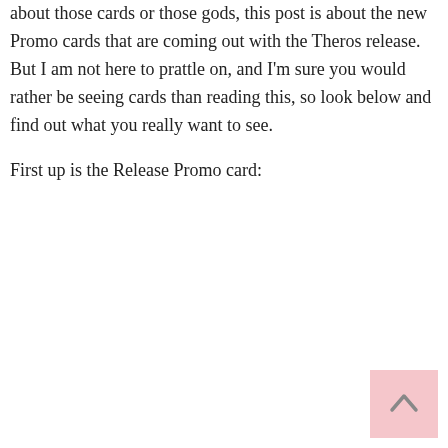about those cards or those gods, this post is about the new Promo cards that are coming out with the Theros release. But I am not here to prattle on, and I'm sure you would rather be seeing cards than reading this, so look below and find out what you really want to see.
First up is the Release Promo card:
[Figure (other): Scroll-to-top button in the bottom right corner, pink/light red background with an upward-pointing chevron arrow]